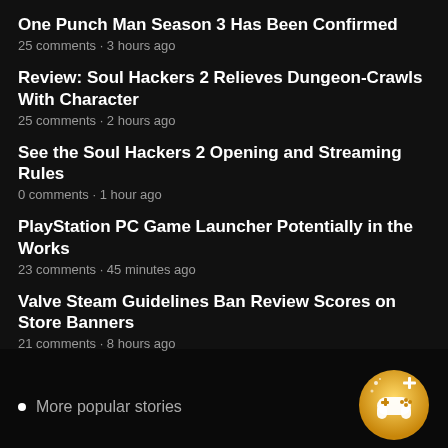One Punch Man Season 3 Has Been Confirmed
25 comments · 3 hours ago
Review: Soul Hackers 2 Relieves Dungeon-Crawls With Character
25 comments · 2 hours ago
See the Soul Hackers 2 Opening and Streaming Rules
0 comments · 1 hour ago
PlayStation PC Game Launcher Potentially in the Works
23 comments · 45 minutes ago
Valve Steam Guidelines Ban Review Scores on Store Banners
21 comments · 8 hours ago
More popular stories
[Figure (logo): Gold circular badge icon with a game controller and plus sign]